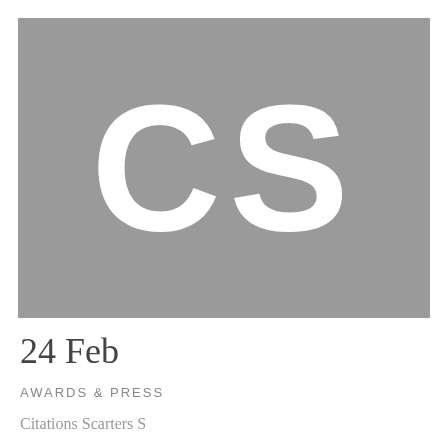[Figure (logo): Grey square logo with large white letters CS centered on a medium grey background]
24 Feb
AWARDS & PRESS
Citations Scarters S...